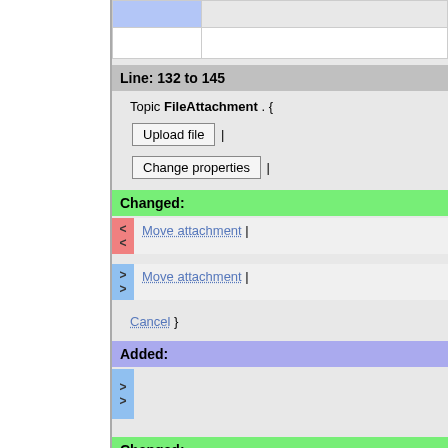|  |  |
|  |  |
Line: 132 to 145
Topic FileAttachment . {
Upload file |
Change properties |
Changed:
< > Move attachment |
> > Move attachment |
Cancel }
Added:
> >
Changed:
< The first table is a list of all < attachments, including their < attributes. A h means the